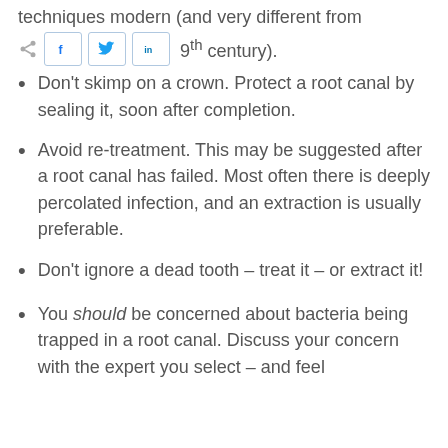techniques modern (and very different from the …9th century).
Don't skimp on a crown. Protect a root canal by sealing it, soon after completion.
Avoid re-treatment. This may be suggested after a root canal has failed. Most often there is deeply percolated infection, and an extraction is usually preferable.
Don't ignore a dead tooth – treat it – or extract it!
You should be concerned about bacteria being trapped in a root canal. Discuss your concern with the expert you select – and feel